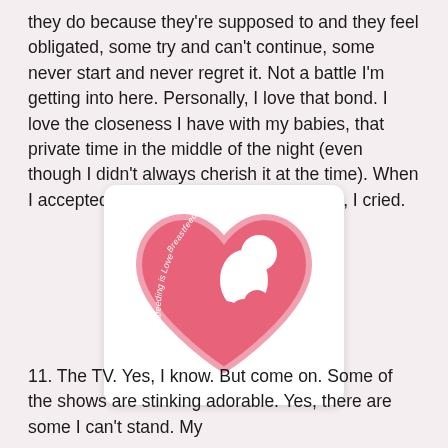they do because they're supposed to and they feel obligated, some try and can't continue, some never start and never regret it.  Not a battle I'm getting into here.  Personally, I love that bond.  I love the closeness I have with my babies, that private time in the middle of the night (even though I didn't always cherish it at the time).  When I accepted that Madison was truly DONE, I cried.
[Figure (illustration): A sticker/logo with a pink heart shape containing a white silhouette of a mother breastfeeding a baby. The text 'Breastfeeding is Love' is written in cursive along the left side of the heart.]
11. The TV.  Yes, I know.  But come on.  Some of the shows are stinking adorable.  Yes, there are some I can't stand.  My